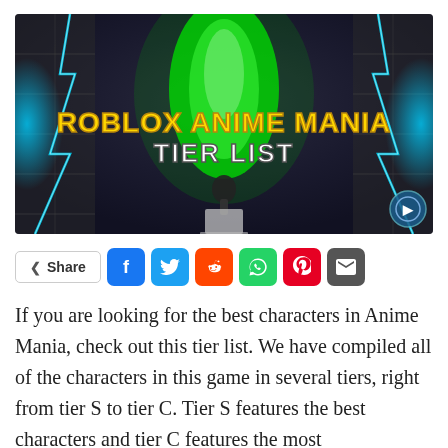[Figure (illustration): Hero banner image for Roblox Anime Mania Tier List article. Dark blue/grey background with a green glowing aura character in the center, blue electric lightning effects on the sides. Text overlay reads 'ROBLOX ANIME MANIA' in bold yellow/gold font and 'TIER LIST' in bold white font. Small circular logo in bottom right corner.]
Share (with social share buttons: Facebook, Twitter, Reddit, WhatsApp, Pinterest, Email)
If you are looking for the best characters in Anime Mania, check out this tier list. We have compiled all of the characters in this game in several tiers, right from tier S to tier C. Tier S features the best characters and tier C features the most...